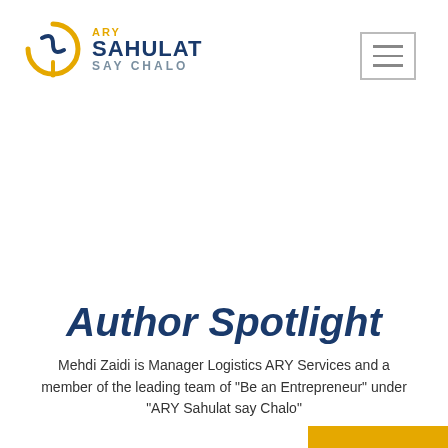[Figure (logo): ARY Sahulat Say Chalo logo with circular arrow icon in gold/blue and text ARY SAHULAT SAY CHALO]
[Figure (other): Hamburger menu icon — three horizontal lines inside a rectangle border]
Author Spotlight
Mehdi Zaidi is Manager Logistics ARY Services and a member of the leading team of "Be an Entrepreneur" under "ARY Sahulat say Chalo"